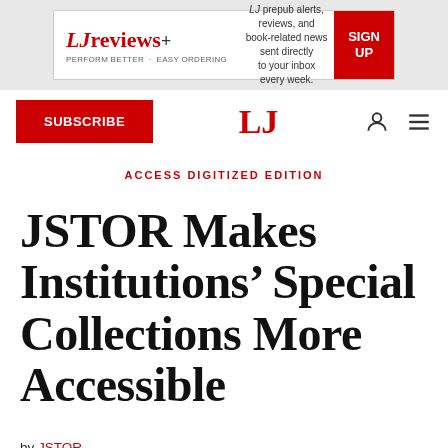[Figure (logo): LJ Reviews+ advertisement banner with red sign up button. Text: LJ prepub alerts, reviews, and book-related news sent directly to your inbox every week.]
SUBSCRIBE | LJ | (user icon) (menu icon)
ACCESS DIGITIZED EDITION
JSTOR Makes Institutions’ Special Collections More Accessible
by JSTOR
May 03, 2022 | Filed in Technology